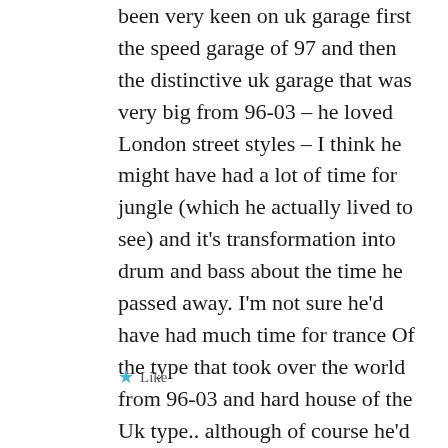been very keen on uk garage first the speed garage of 97 and then the distinctive uk garage that was very big from 96-03 – he loved London street styles – I think he might have had a lot of time for jungle (which he actually lived to see) and it's transformation into drum and bass about the time he passed away. I'm not sure he'd have had much time for trance Of the type that took over the world from 96-03 and hard house of the Uk type.. although of course he'd have lived long enough to hear the early trance and even early hard house.
★ Like
Reply